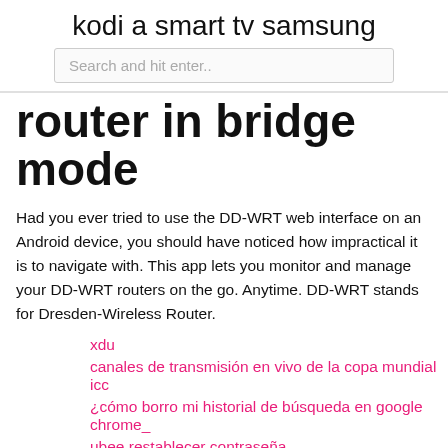kodi a smart tv samsung
Search and hit enter..
router in bridge mode
Had you ever tried to use the DD-WRT web interface on an Android device, you should have noticed how impractical it is to navigate with. This app lets you monitor and manage your DD-WRT routers on the go. Anytime. DD-WRT stands for Dresden-Wireless Router.
xdu
canales de transmisión en vivo de la copa mundial icc
¿cómo borro mi historial de búsqueda en google chrome_
ubee restablecer contraseña
netflix portátil de transmisión sin conexión
video diablo xbmc
RoNiE
Tkj
YWLb
czN